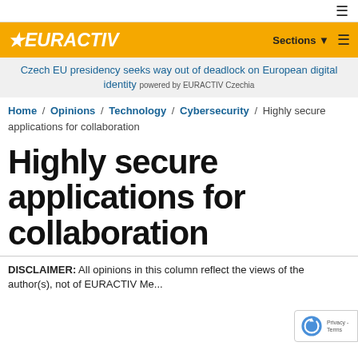☰
[Figure (logo): EURACTIV logo with star on yellow background, with Sections menu and hamburger icon]
Czech EU presidency seeks way out of deadlock on European digital identity powered by EURACTIV Czechia
Home / Opinions / Technology / Cybersecurity / Highly secure applications for collaboration
Highly secure applications for collaboration
DISCLAIMER: All opinions in this column reflect the views of the author(s), not of EURACTIV Me...